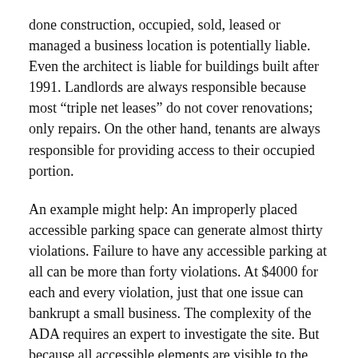done construction, occupied, sold, leased or managed a business location is potentially liable.  Even the architect is liable for buildings built after 1991.  Landlords are always responsible because most "triple net leases" do not cover renovations; only repairs.  On the other hand, tenants are always responsible for providing access to their occupied portion.
An example might help:  An improperly placed accessible parking space can generate almost thirty violations.  Failure to have any accessible parking at all can be more than forty violations.  At $4000 for each and every violation, just that one issue can bankrupt a small business.  The complexity of the ADA requires an expert to investigate the site.  But because all accessible elements are visible to the unaided eye, neither landlord nor tenant is safe.  Responsibility for the ADA is much like asbestos or a leaky roof... waiting only delays the